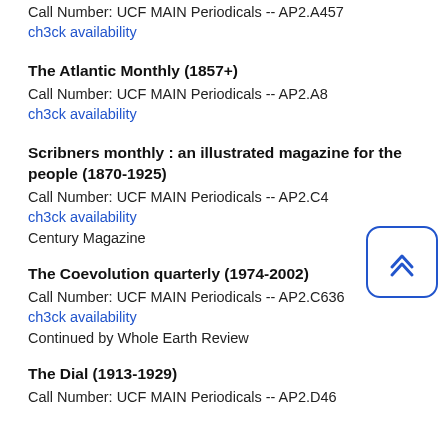Call Number: UCF MAIN Periodicals -- AP2.A457
ch3ck availability
The Atlantic Monthly (1857+)
Call Number: UCF MAIN Periodicals -- AP2.A8
ch3ck availability
Scribners monthly : an illustrated magazine for the people (1870-1925)
Call Number: UCF MAIN Periodicals -- AP2.C4
ch3ck availability
Century Magazine
The Coevolution quarterly (1974-2002)
Call Number: UCF MAIN Periodicals -- AP2.C636
ch3ck availability
Continued by Whole Earth Review
The Dial (1913-1929)
Call Number: UCF MAIN Periodicals -- AP2.D46